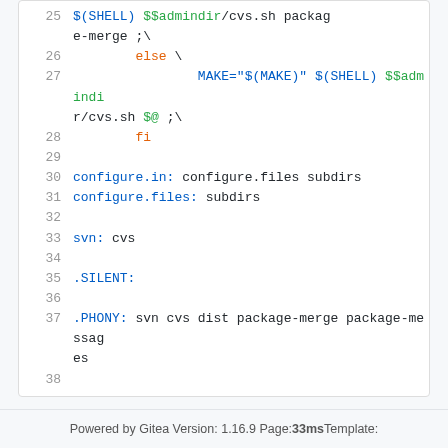[Figure (screenshot): Source code viewer showing lines 25-38 of a Makefile with syntax highlighting. Lines include shell commands, configure targets, svn/cvs targets, .SILENT and .PHONY directives.]
Powered by Gitea Version: 1.16.9 Page: 33ms Template: